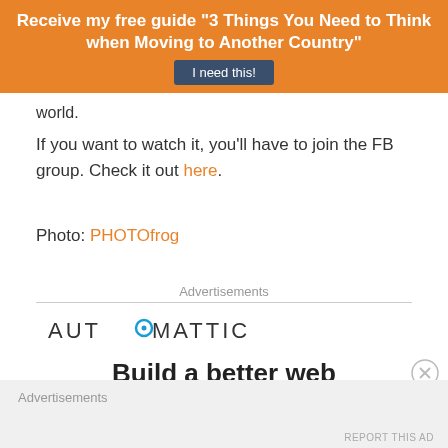[Figure (infographic): Orange banner with text: Receive my free guide "3 Things You Need to Think when Moving to Another Country" and a button labeled 'I need this!']
world.
If you want to watch it, you'll have to join the FB group. Check it out here.
Photo: PHOTOfrog
Advertisements
[Figure (logo): AUTOMATTIC logo with a blue circle dot over the O]
Build a better web
Advertisements
REPORT THIS AD